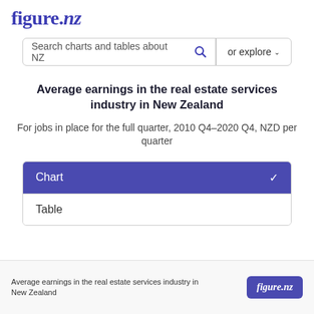figure.nz
Search charts and tables about NZ   or explore
Average earnings in the real estate services industry in New Zealand
For jobs in place for the full quarter, 2010 Q4–2020 Q4, NZD per quarter
Chart ✓
Table
Average earnings in the real estate services industry in New Zealand